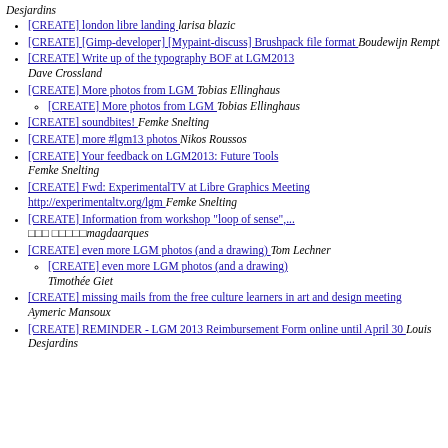Desjardins
[CREATE] london libre landing   larisa blazic
[CREATE] [Gimp-developer] [Mypaint-discuss] Brushpack file format   Boudewijn Rempt
[CREATE] Write up of the typography BOF at LGM2013   Dave Crossland
[CREATE] More photos from LGM   Tobias Ellinghaus
[CREATE] More photos from LGM   Tobias Ellinghaus (sub-item)
[CREATE] soundbites!   Femke Snelting
[CREATE] more #lgm13 photos   Nikos Roussos
[CREATE] Your feedback on LGM2013: Future Tools   Femke Snelting
[CREATE] Fwd: ExperimentalTV at Libre Graphics Meeting http://experimentaltv.org/lgm   Femke Snelting
[CREATE] Information from workshop "loop of sense",... ??? ?????magdaarques
[CREATE] even more LGM photos (and a drawing)   Tom Lechner
[CREATE] even more LGM photos (and a drawing)   Timothée Giet (sub-item)
[CREATE] missing mails from the free culture learners in art and design meeting   Aymeric Mansoux
[CREATE] REMINDER - LGM 2013 Reimbursement Form online until April 30   Louis Desjardins